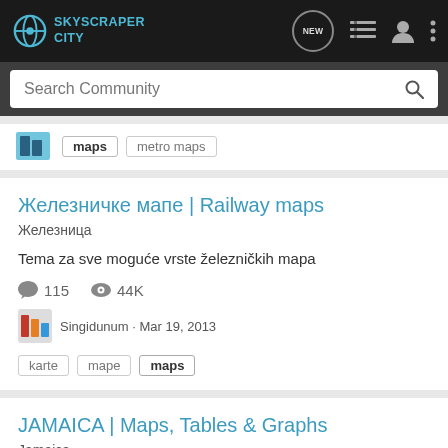SkyscraperCity
Search Community
maps   metro maps
Железничке мапе | Railway maps
Железница
Tema za sve moguće vrste železničkih mapa
115   44K
Singidunum · Mar 19, 2013
karte   mape   maps
JAMAICA | Maps, Tables & Graphs
Jamaica